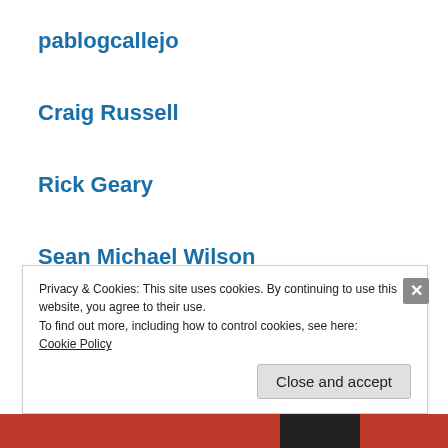pablogcallejo
Craig Russell
Rick Geary
Sean Michael Wilson
Steve Weiner
Privacy & Cookies: This site uses cookies. By continuing to use this website, you agree to their use.
To find out more, including how to control cookies, see here:
Cookie Policy
Close and accept